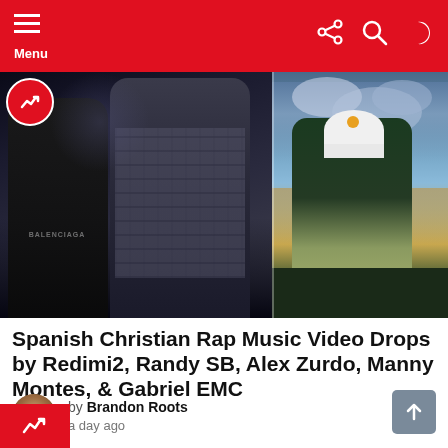Menu
[Figure (photo): Two male rap artists on a stage or at an event. Left person wears a black t-shirt reading BALENCIAGA and holds a microphone. Center person wears a white and black plaid flannel shirt over a white shirt and white pants, with a black cap. Right portion shows a solo male artist in a dark green t-shirt and light khaki pants with a white beanie cap, posing outdoors against a dramatic cloudy sky.]
Spanish Christian Rap Music Video Drops by Redimi2, Randy SB, Alex Zurdo, Manny Montes, & Gabriel EMC
by Brandon Roots
a day ago